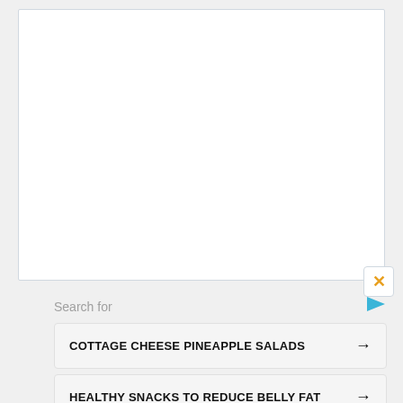[Figure (screenshot): White panel area, top portion of an advertisement or web widget]
Search for
COTTAGE CHEESE PINEAPPLE SALADS →
HEALTHY SNACKS TO REDUCE BELLY FAT →
Yahoo! Search | Sponsored